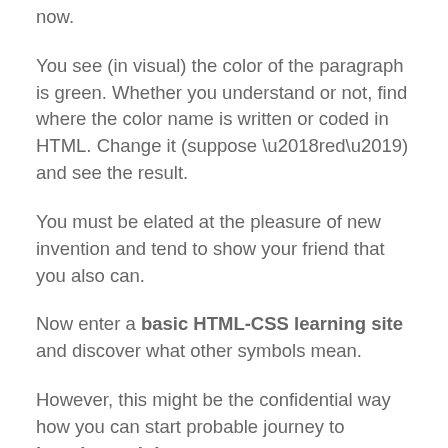now.
You see (in visual) the color of the paragraph is green. Whether you understand or not, find where the color name is written or coded in HTML. Change it (suppose ‘red’) and see the result.
You must be elated at the pleasure of new invention and tend to show your friend that you also can.
Now enter a basic HTML-CSS learning site and discover what other symbols mean.
However, this might be the confidential way how you can start probable journey to learning web language.
Now friend, what is your thought about Gutenberg? Aren’t you ready to say hello to Gutenberg Editor. I’m